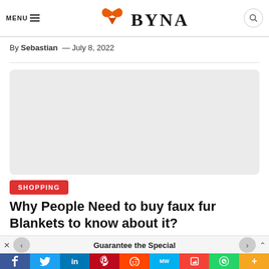MENU  W BYNA
By Sebastian — July 8, 2022
[Figure (other): Light grey rectangular image/ad placeholder with rounded corners]
SHOPPING
Why People Need to buy faux fur Blankets to know about it?
Guarantee the Special
f  Twitter  in  P  Reddit  MW  M  WhatsApp  More